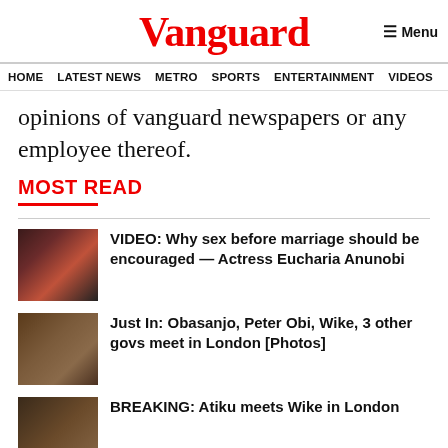Vanguard
HOME  LATEST NEWS  METRO  SPORTS  ENTERTAINMENT  VIDEOS
opinions of vanguard newspapers or any employee thereof.
MOST READ
VIDEO: Why sex before marriage should be encouraged — Actress Eucharia Anunobi
Just In: Obasanjo, Peter Obi, Wike, 3 other govs meet in London [Photos]
BREAKING: Atiku meets Wike in London